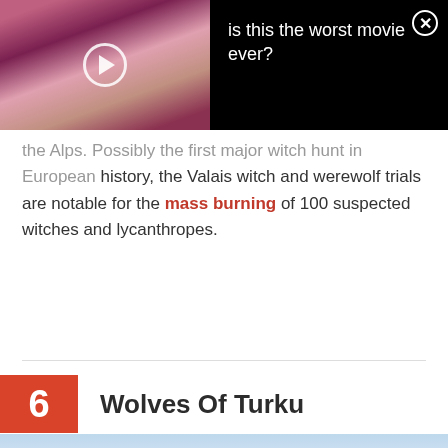[Figure (screenshot): Video ad overlay with thumbnail showing a person with pink hair, play button, and text 'is this the worst movie ever?' with a close (X) button on black background.]
the Alps. Possibly the first major witch hunt in European history, the Valais witch and werewolf trials are notable for the mass burning of 100 suspected witches and lycanthropes.
6 Wolves Of Turku
[Figure (photo): Partial landscape photo visible at very bottom of page with light blue bar above it.]